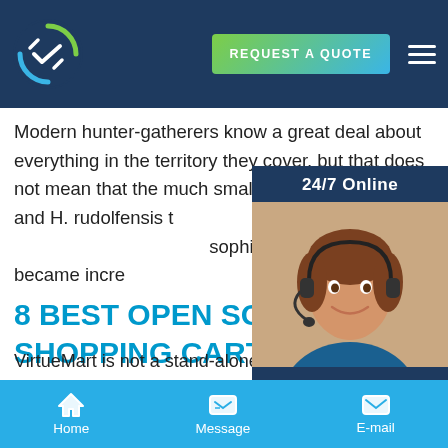REQUEST A QUOTE
Modern hunter-gatherers know a great deal about everything in the territory they cover, but that does not mean that the much smaller brained H. habilis and H. rudolfensis t... sophisticated. Hunting became incre
[Figure (screenshot): 24/7 Online widget with photo of female customer service agent wearing headset, and a 'Have any requests, click here.' message with Quotation button]
8 BEST OPEN SOURCE SHOPPING CARTS - WEBTECKER
VirtueMart is not a stand-alone script, but a
Home   Message   E-mail